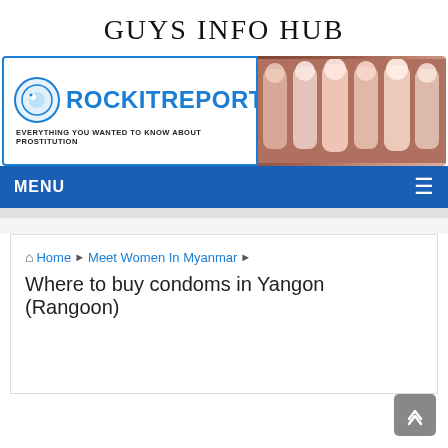GUYS INFO HUB
[Figure (screenshot): Rockit Reports banner logo with tagline 'Everything you wanted to know about prostitution' and group photo of women in costume on the right]
MENU
Home ▶ Meet Women In Myanmar ▶ Where to buy condoms in Yangon (Rangoon)